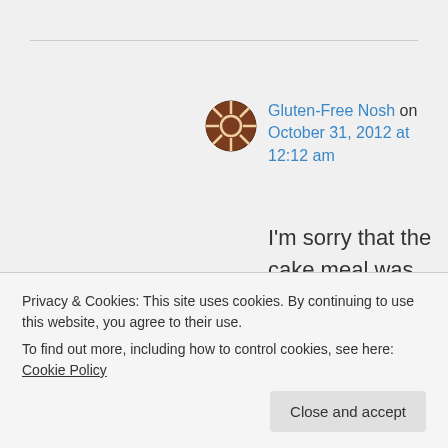Gluten-Free Nosh on October 31, 2012 at 12:12 am
I'm sorry that the cake meal was disaster. There is nothing more depressing than a baking project that doesn't work out. I don't have a box in front of me, but I think the ingredients
Privacy & Cookies: This site uses cookies. By continuing to use this website, you agree to their use.
To find out more, including how to control cookies, see here: Cookie Policy
Close and accept
fine for Passover, which has